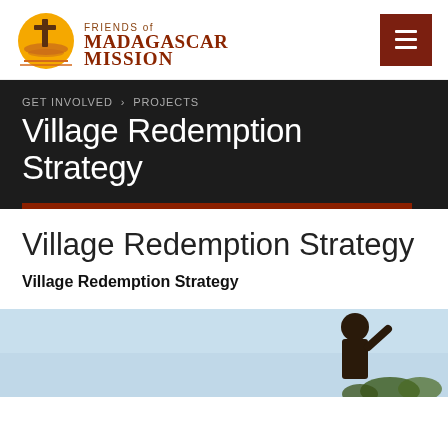Friends of Madagascar Mission
Village Redemption Strategy
GET INVOLVED > PROJECTS
Village Redemption Strategy
Village Redemption Strategy
[Figure (photo): Outdoor photo showing a person against a light blue sky with trees in background]